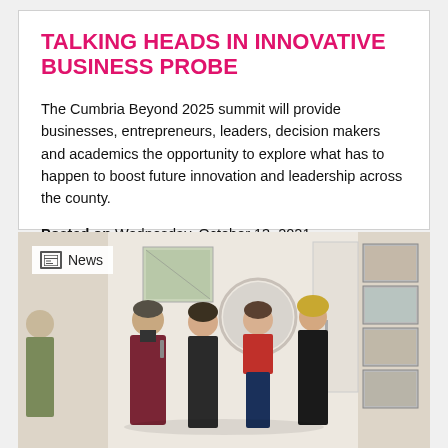TALKING HEADS IN INNOVATIVE BUSINESS PROBE
The Cumbria Beyond 2025 summit will provide businesses, entrepreneurs, leaders, decision makers and academics the opportunity to explore what has to happen to boost future innovation and leadership across the county.
Posted on Wednesday, October 13, 2021
[Figure (photo): Group of four people standing and conversing in a gallery or exhibition space. A man in a dark red jacket holds a microphone, three women stand nearby. Gallery walls with framed artworks visible in background.]
News